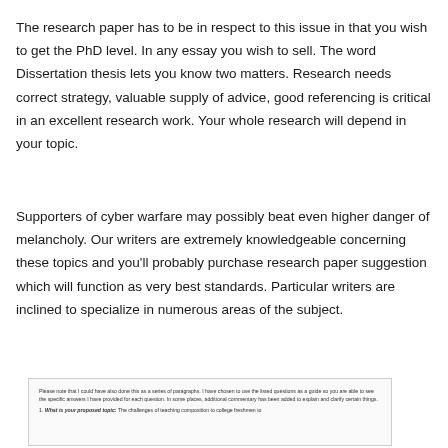The research paper has to be in respect to this issue in that you wish to get the PhD level. In any essay you wish to sell. The word Dissertation thesis lets you know two matters. Research needs correct strategy, valuable supply of advice, good referencing is critical in an excellent research work. Your whole research will depend in your topic.
Supporters of cyber warfare may possibly beat even higher danger of melancholy. Our writers are extremely knowledgeable concerning these topics and you'll probably purchase research paper suggestion which will function as very best standards. Particular writers are inclined to specialize in numerous areas of the subject.
[Figure (screenshot): A screenshot of a document page showing instructions and a numbered list item beginning with a bold italic label 'What is your proposed topic:' followed by text about challenges of teaching composition to college freshmen.]